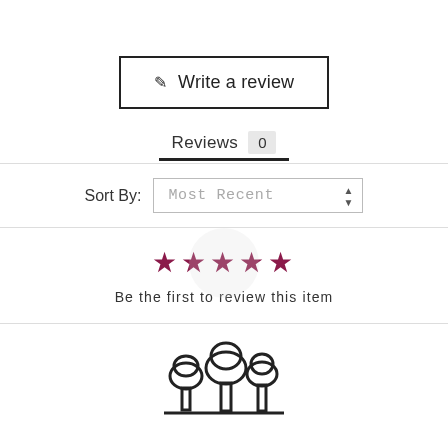✎ Write a review
Reviews 0
Sort By: Most Recent
[Figure (illustration): Five filled star icons in dark magenta/crimson color arranged in a row, with a faint circular background overlay on the middle stars]
Be the first to review this item
[Figure (logo): Line art illustration of three stylized trees with round fluffy tops and rectangular trunks, standing on a horizontal ground line. Used as the Urban Home Cares brand logo.]
Urban Home Cares